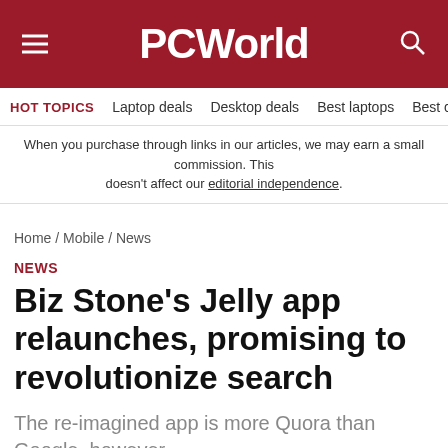PCWorld
HOT TOPICS   Laptop deals   Desktop deals   Best laptops   Best ch
When you purchase through links in our articles, we may earn a small commission. This doesn’t affect our editorial independence.
Home / Mobile / News
NEWS
Biz Stone’s Jelly app relaunches, promising to revolutionize search
The re-imagined app is more Quora than Google, however.